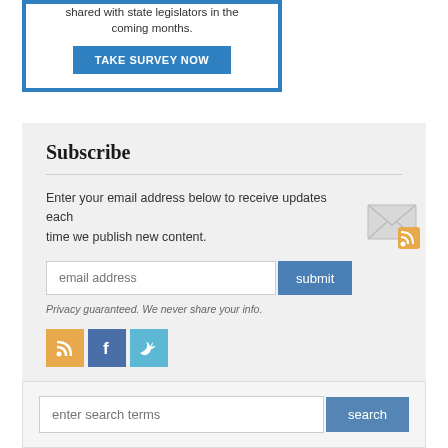shared with state legislators in the coming months.
TAKE SURVEY NOW
Subscribe
Enter your email address below to receive updates each time we publish new content.
[Figure (illustration): Envelope icon with RSS feed badge]
email address
submit
Privacy guaranteed. We never share your info.
[Figure (illustration): RSS icon (orange), Facebook icon (blue), Twitter icon (light blue) social media buttons]
enter search terms
search